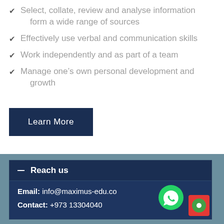Select, collate, review and analyse information form a wide range of sources
Effectively use verbal and communication skills
Work independently and as part of a team
Manage one's own personal development and growth
Learn More
Reach us
Email: info@maximus-edu.co
Contact: +973 13304040